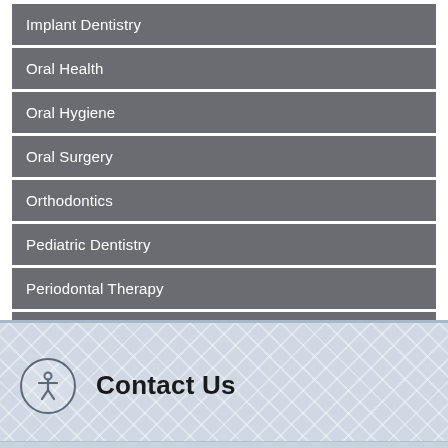Implant Dentistry
Oral Health
Oral Hygiene
Oral Surgery
Orthodontics
Pediatric Dentistry
Periodontal Therapy
Technology
Contact Us